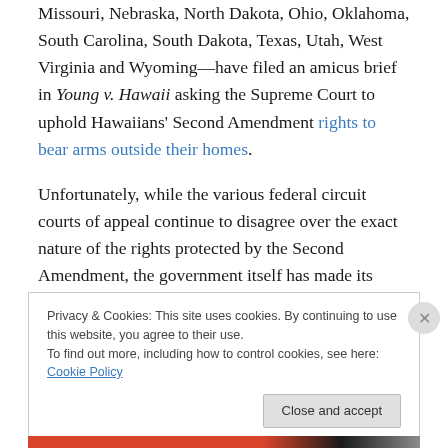Missouri, Nebraska, North Dakota, Ohio, Oklahoma, South Carolina, South Dakota, Texas, Utah, West Virginia and Wyoming—have filed an amicus brief in Young v. Hawaii asking the Supreme Court to uphold Hawaiians' Second Amendment rights to bear arms outside their homes.
Unfortunately, while the various federal circuit courts of appeal continue to disagree over the exact nature of the rights protected by the Second Amendment, the government itself has made its position extremely clear.
Privacy & Cookies: This site uses cookies. By continuing to use this website, you agree to their use. To find out more, including how to control cookies, see here: Cookie Policy